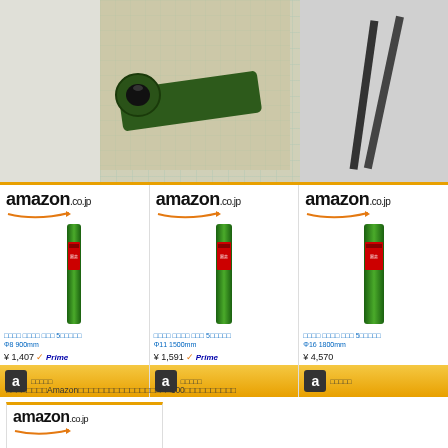[Figure (photo): Close-up photo of a dark green hollow metal tube end, photographed on a grid cutting mat]
[Figure (photo): Partial photo showing dark lines/objects on light gray background]
[Figure (screenshot): Amazon.co.jp product card showing green garden stake Φ8 900mm, price ¥1,407 with Prime]
[Figure (screenshot): Amazon.co.jp product card showing green garden stake Φ11 1500mm, price ¥1,591 with Prime]
[Figure (screenshot): Amazon.co.jp product card showing green garden stake Φ16 1800mm, price ¥4,570]
□□□□□□□□Amazon□□□□□□□□□□□□□□□□□□100□□□□□□□□□□
[Figure (screenshot): Amazon.co.jp product card showing a green U-shaped bracket/staple product]